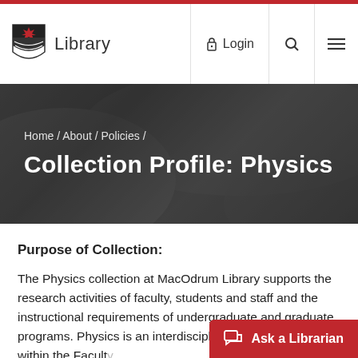[Figure (logo): Carleton University Library logo with maple leaf shield and 'Library' text]
Library   Login   Search   Menu
[Figure (photo): Dark hero banner with abstract background]
Home / About / Policies /
Collection Profile: Physics
Purpose of Collection:
The Physics collection at MacOdrum Library supports the research activities of faculty, students and staff and the instructional requirements of undergraduate and graduate programs. Physics is an interdisciplinary area of studies within the Faculty... the collection also provides sup...